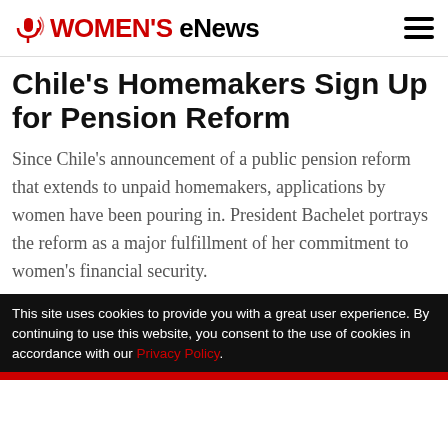WOMEN'S eNews
Chile's Homemakers Sign Up for Pension Reform
Since Chile's announcement of a public pension reform that extends to unpaid homemakers, applications by women have been pouring in. President Bachelet portrays the reform as a major fulfillment of her commitment to women's financial security.
This site uses cookies to provide you with a great user experience. By continuing to use this website, you consent to the use of cookies in accordance with our Privacy Policy.